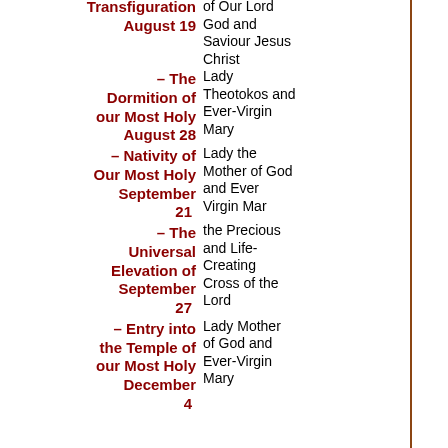August 19 – Transfiguration of Our Lord God and Saviour Jesus Christ
August 28 – The Dormition of our Most Holy Lady Theotokos and Ever-Virgin Mary
September 21 – Nativity of Our Most Holy Lady the Mother of God and Ever Virgin Mar
September 27 – The Universal Elevation of the Precious and Life-Creating Cross of the Lord
December 4 – Entry into the Temple of our Most Holy Lady Mother of God and Ever-Virgin Mary